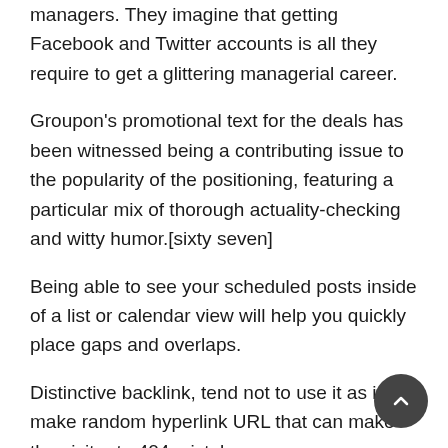managers. They imagine that getting Facebook and Twitter accounts is all they require to get a glittering managerial career.
Groupon's promotional text for the deals has been witnessed being a contributing issue to the popularity of the positioning, featuring a particular mix of thorough actuality-checking and witty humor.[sixty seven]
Being able to see your scheduled posts inside of a list or calendar view will help you quickly place gaps and overlaps.
Distinctive backlink, tend not to use it as it can make random hyperlink URL that can make the visitor to 404 mistake page.